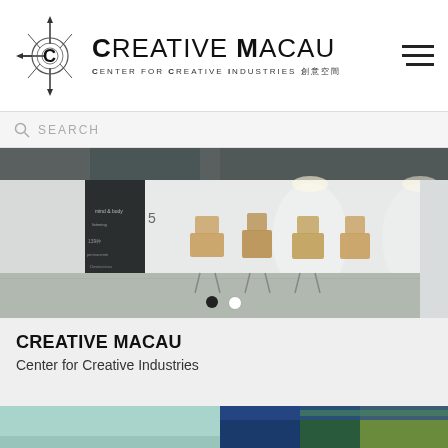[Figure (logo): Creative Macau compass logo with arrows pointing in four directions and circular swirl design]
CREATIVE MACAU
CENTER FOR CREATIVE INDUSTRIES 創意空間
[Figure (other): Hamburger menu icon with three horizontal lines]
SEARCH
[Figure (photo): Interior photo of Creative Macau space showing wooden chairs around a table, concrete floor, and a dark column with white chalk writing]
CREATIVE MACAU
Center for Creative Industries
[Figure (photo): Thumbnail image with teal/mint color background]
[Figure (photo): Thumbnail image with blue and green tones]